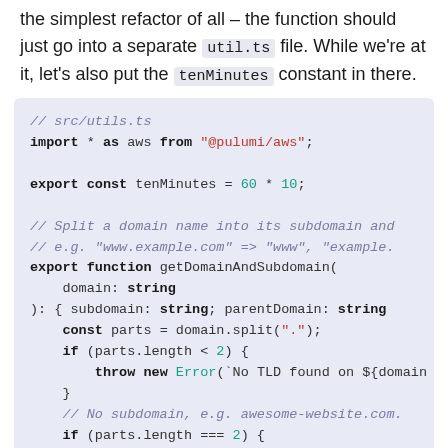the simplest refactor of all – the function should just go into a separate util.ts file. While we're at it, let's also put the tenMinutes constant in there.
[Figure (screenshot): Code block showing src/utils.ts TypeScript file with import statement, tenMinutes constant, and getDomainAndSubdomain function definition on a light purple/lavender background]